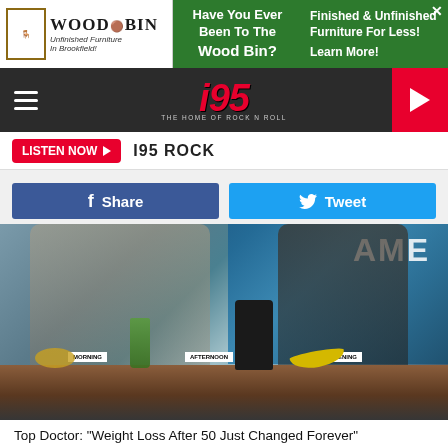[Figure (photo): Wood Bin furniture advertisement banner showing logo and green promotional text]
[Figure (logo): i95 Rock radio station logo with red text and tagline 'The Home of Rock N Roll']
LISTEN NOW  I95 ROCK
f  Share
Tweet
[Figure (photo): TV segment screenshot showing women at a kitchen counter with food items labeled MORNING, AFTERNOON, EVENING. Text 'AME' visible in upper right corner. One woman in beige sweater gesturing, one in black dress standing to the right.]
Top Doctor: "Weight Loss After 50 Just Changed Forever"
Dr. Kellyann